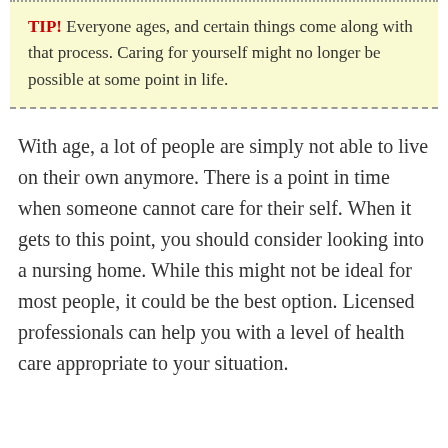TIP! Everyone ages, and certain things come along with that process. Caring for yourself might no longer be possible at some point in life.
With age, a lot of people are simply not able to live on their own anymore. There is a point in time when someone cannot care for their self. When it gets to this point, you should consider looking into a nursing home. While this might not be ideal for most people, it could be the best option. Licensed professionals can help you with a level of health care appropriate to your situation.